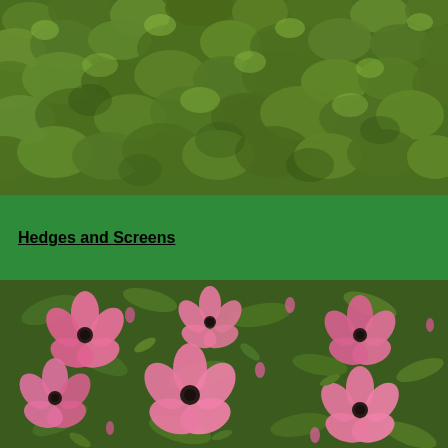[Figure (photo): Close-up photograph of a dense green hedge, showing textured dark and light green foliage filling the entire frame.]
Hedges and Screens
[Figure (photo): Close-up photograph of pink Leptospermum (tea tree) flowers with dark centers, surrounded by small green leaves and buds.]